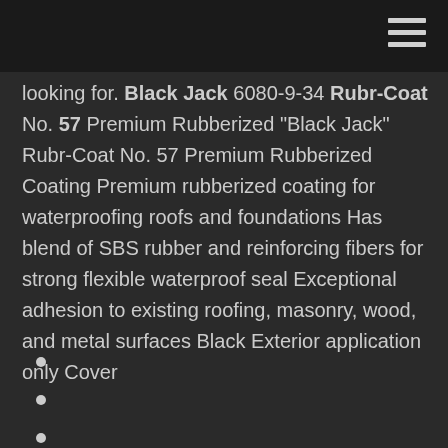looking for. Black Jack 6080-9-34 Rubr-Coat No. 57 Premium Rubberized "Black Jack" Rubr-Coat No. 57 Premium Rubberized Coating Premium rubberized coating for waterproofing roofs and foundations Has blend of SBS rubber and reinforcing fibers for strong flexible waterproof seal Exceptional adhesion to existing roofing, masonry, wood, and metal surfaces Black Exterior application only Cover